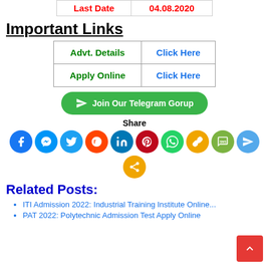| Last Date | 04.08.2020 |
Important Links
| Advt. Details | Click Here |
| Apply Online | Click Here |
[Figure (other): Green rounded button with Telegram plane icon and text 'Join Our Telegram Gorup']
Share
[Figure (other): Row of social media share icons: Facebook, Messenger, Twitter, Reddit, LinkedIn, Pinterest, WhatsApp, Copy Link, SMS, Telegram, and a generic share icon]
Related Posts:
ITI Admission 2022: Industrial Training Institute Online...
PAT 2022: Polytechnic Admission Test Apply Online